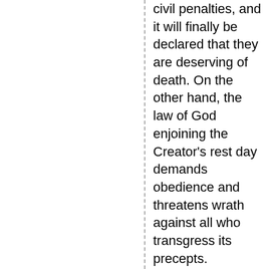civil penalties, and it will finally be declared that they are deserving of death. On the other hand, the law of God enjoining the Creator's rest day demands obedience and threatens wrath against all who transgress its precepts.
With the issue thus clearly brought before him, whoever shall trample upon God's law to obey a human enactment receives the mark of the beast; he accepts the sign of allegiance to